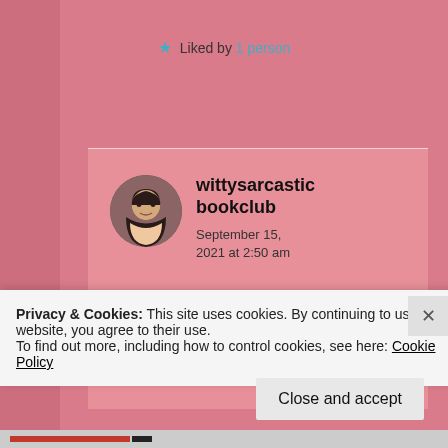Liked by 1 person
wittysarcastic bookclub
September 15, 2021 at 2:50 am
Ha ha! It means it gives
Privacy & Cookies: This site uses cookies. By continuing to use this website, you agree to their use.
To find out more, including how to control cookies, see here: Cookie Policy
Close and accept